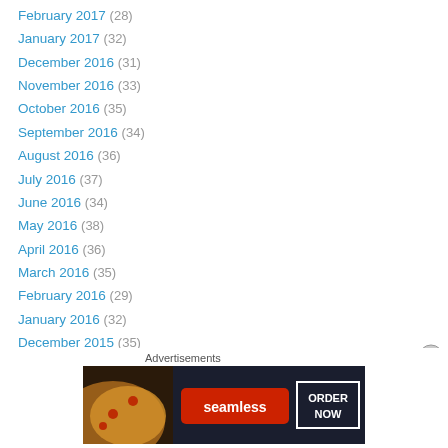February 2017 (28)
January 2017 (32)
December 2016 (31)
November 2016 (33)
October 2016 (35)
September 2016 (34)
August 2016 (36)
July 2016 (37)
June 2016 (34)
May 2016 (38)
April 2016 (36)
March 2016 (35)
February 2016 (29)
January 2016 (32)
December 2015 (35)
November 2015 (37)
October 2015 (39)
[Figure (infographic): Seamless advertisement banner with pizza image, Seamless logo in red, and ORDER NOW button]